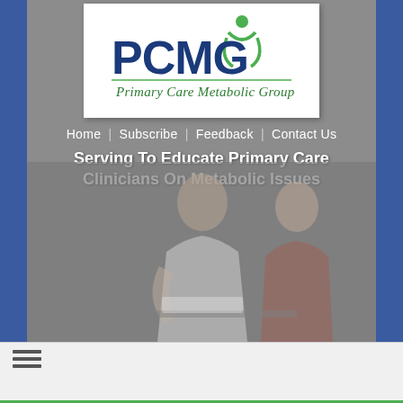[Figure (logo): PCMG Primary Care Metabolic Group logo with green figure and blue text on white background]
Home | Subscribe | Feedback | Contact Us
Serving To Educate Primary Care Clinicians On Metabolic Issues
[Figure (photo): Background photo of a doctor and patient reviewing documents together, rendered in muted gray tones]
[Figure (other): Hamburger menu icon with three horizontal lines]